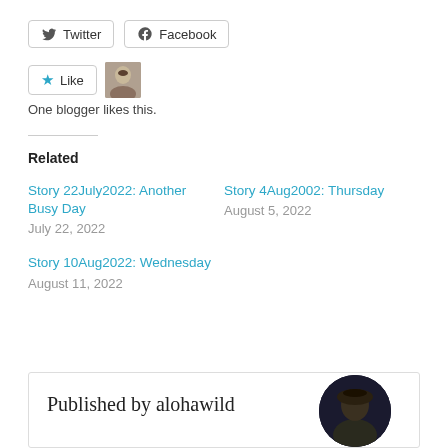[Figure (other): Twitter and Facebook social share buttons]
[Figure (other): Like button with star icon and a blogger avatar thumbnail; text: One blogger likes this.]
One blogger likes this.
Related
Story 22July2022: Another Busy Day
July 22, 2022
Story 4Aug2002: Thursday
August 5, 2022
Story 10Aug2022: Wednesday
August 11, 2022
Published by alohawild